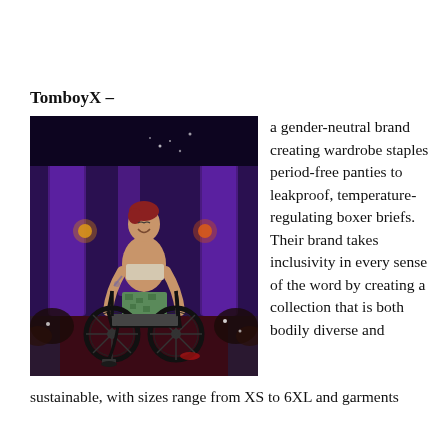TomboyX –
[Figure (photo): A person in a wheelchair on a fashion runway, shirtless with tattoos, wearing patterned shorts, smiling. Purple stage lighting with columns in background and audience visible on both sides.]
a gender-neutral brand creating wardrobe staples period-free panties to leakproof, temperature-regulating boxer briefs. Their brand takes inclusivity in every sense of the word by creating a collection that is both bodily diverse and sustainable, with sizes range from XS to 6XL and garments